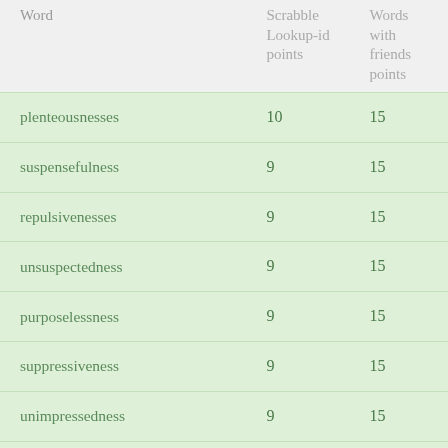| Word | Scrabble Lookup-id points | Words with friends points |
| --- | --- | --- |
| plenteousnesses | 10 | 15 |
| suspensefulness | 9 | 15 |
| repulsivenesses | 9 | 15 |
| unsuspectedness | 9 | 15 |
| purposelessness | 9 | 15 |
| suppressiveness | 9 | 15 |
| unimpressedness | 9 | 15 |
| pseudosequences | 9 | 15 |